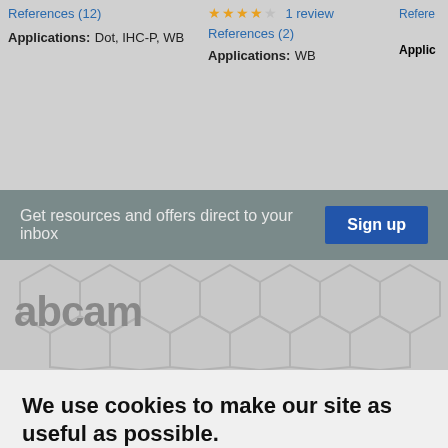References (12)
Applications: Dot, IHC-P, WB
1 review
References (2)
Applications: WB
Refere...
Applic...
Get resources and offers direct to your inbox
Sign up
[Figure (logo): abcam logo with hexagon watermark background]
We use cookies to make our site as useful as possible.
Our Cookie Policy explains how you can opt-out of the cookies we use. If you continue without changing your cookie settings, we'll assume you're happy with this.
Accept All Cookies